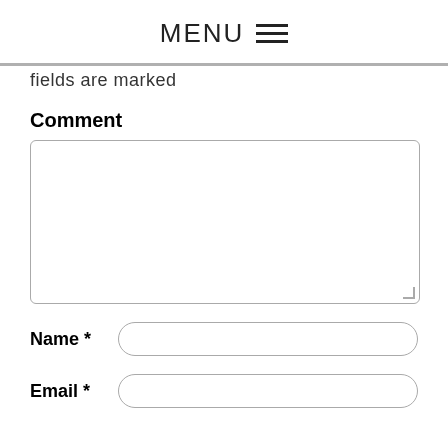MENU ☰
fields are marked
Comment
[Comment textarea]
Name *
Email *